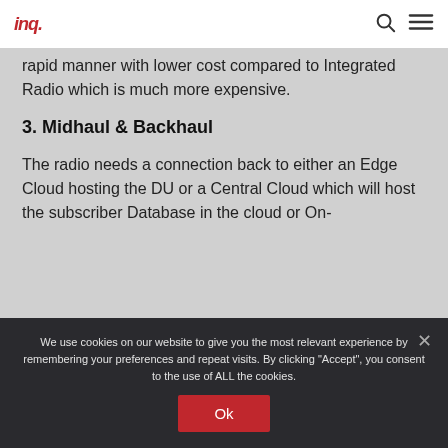inq.
rapid manner with lower cost compared to Integrated Radio which is much more expensive.
3. Midhaul & Backhaul
The radio needs a connection back to either an Edge Cloud hosting the DU or a Central Cloud which will host the subscriber Database in the cloud or On-
We use cookies on our website to give you the most relevant experience by remembering your preferences and repeat visits. By clicking "Accept", you consent to the use of ALL the cookies.